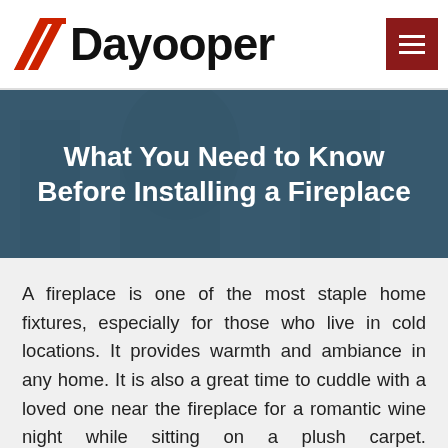[Figure (logo): Dayooper logo with red diagonal stripe icon and bold black text 'Dayooper']
[Figure (photo): Hero banner image showing a person working near a fireplace, overlaid with dark blue-teal tint]
What You Need to Know Before Installing a Fireplace
A fireplace is one of the most staple home fixtures, especially for those who live in cold locations. It provides warmth and ambiance in any home. It is also a great time to cuddle with a loved one near the fireplace for a romantic wine night while sitting on a plush carpet. Nonetheless, a fireplace is a beautiful and warming fixture that every home